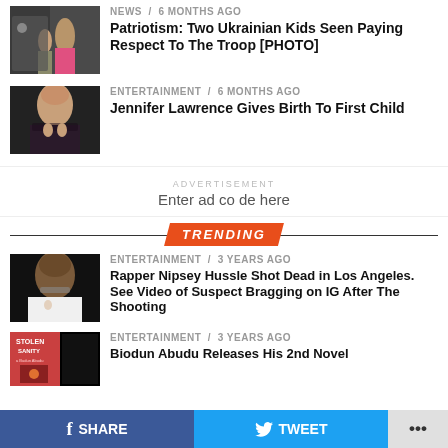NEWS / 6 months ago
Patriotism: Two Ukrainian Kids Seen Paying Respect To The Troop [PHOTO]
[Figure (photo): Photo of military scene with children near a vehicle]
ENTERTAINMENT / 6 months ago
Jennifer Lawrence Gives Birth To First Child
[Figure (photo): Photo of Jennifer Lawrence in a floral dress]
ADVERTISEMENT
Enter ad code here
TRENDING
ENTERTAINMENT / 3 years ago
Rapper Nipsey Hussle Shot Dead in Los Angeles. See Video of Suspect Bragging on IG After The Shooting
[Figure (photo): Portrait photo of Nipsey Hussle]
ENTERTAINMENT / 3 years ago
Biodun Abudu Releases His 2nd Novel
[Figure (photo): Book cover of Stolen Sanity]
SHARE   TWEET   ...